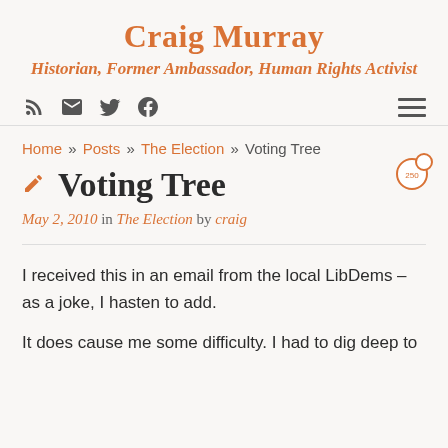Craig Murray
Historian, Former Ambassador, Human Rights Activist
Home » Posts » The Election » Voting Tree
Voting Tree
May 2, 2010  in  The Election  by  craig
I received this in an email from the local LibDems – as a joke, I hasten to add.
It does cause me some difficulty. I had to dig deep to